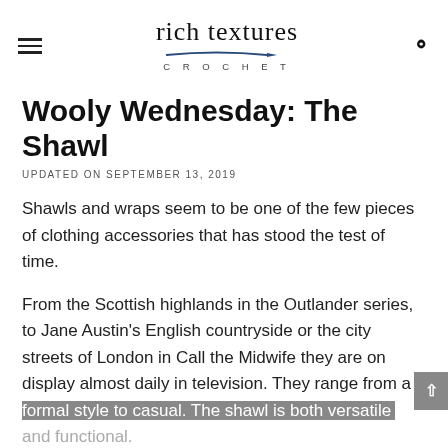rich textures CROCHET
Wooly Wednesday: The Shawl
UPDATED ON SEPTEMBER 13, 2019
Shawls and wraps seem to be one of the few pieces of clothing accessories that has stood the test of time.
From the Scottish highlands in the Outlander series, to Jane Austin's English countryside or the city streets of London in Call the Midwife they are on display almost daily in television. They range from a formal style to casual. The shawl is both versatile and functional.